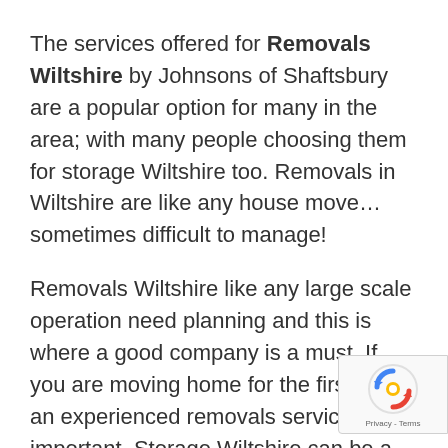The services offered for Removals Wiltshire by Johnsons of Shaftsbury are a popular option for many in the area; with many people choosing them for storage Wiltshire too. Removals in Wiltshire are like any house move…sometimes difficult to manage!
Removals Wiltshire like any large scale operation need planning and this is where a good company is a must. If you are moving home for the first time, an experienced removals service is important. Storage Wiltshire can be a great thing to arrange in advance too. This is because often, once
[Figure (logo): reCAPTCHA badge with spinning arrow logo and Privacy - Terms text]